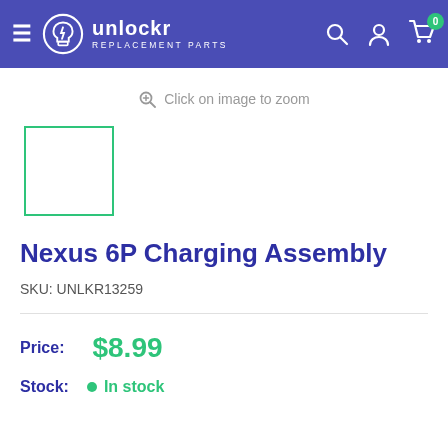unlockr REPLACEMENT PARTS
Click on image to zoom
[Figure (other): Product thumbnail placeholder box with teal/green border]
Nexus 6P Charging Assembly
SKU: UNLKR13259
Price: $8.99
Stock: In stock